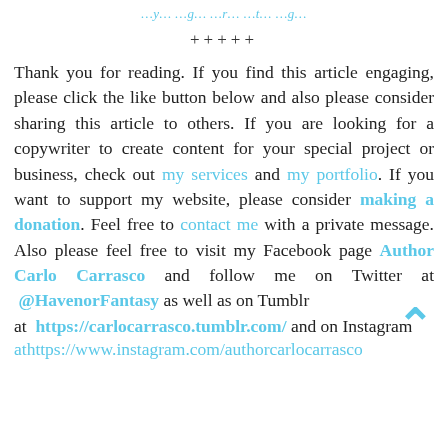…continuing from preceding page…
+++++
Thank you for reading. If you find this article engaging, please click the like button below and also please consider sharing this article to others. If you are looking for a copywriter to create content for your special project or business, check out my services and my portfolio. If you want to support my website, please consider making a donation. Feel free to contact me with a private message. Also please feel free to visit my Facebook page Author Carlo Carrasco and follow me on Twitter at @HavenorFantasy as well as on Tumblr at https://carlocarrasco.tumblr.com/ and on Instagram at https://www.instagram.com/authorcarlocarrasco